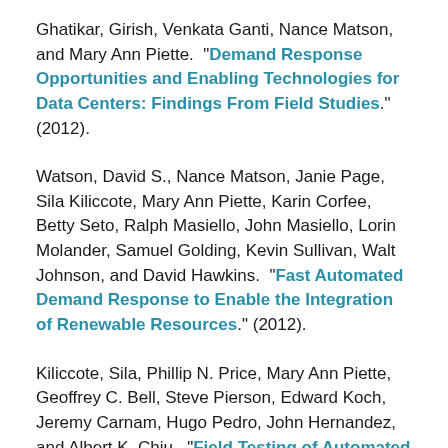Ghatikar, Girish, Venkata Ganti, Nance Matson, and Mary Ann Piette. "Demand Response Opportunities and Enabling Technologies for Data Centers: Findings From Field Studies." (2012).
Watson, David S., Nance Matson, Janie Page, Sila Kiliccote, Mary Ann Piette, Karin Corfee, Betty Seto, Ralph Masiello, John Masiello, Lorin Molander, Samuel Golding, Kevin Sullivan, Walt Johnson, and David Hawkins. "Fast Automated Demand Response to Enable the Integration of Renewable Resources." (2012).
Kiliccote, Sila, Phillip N. Price, Mary Ann Piette, Geoffrey C. Bell, Steve Pierson, Edward Koch, Jeremy Carnam, Hugo Pedro, John Hernandez, and Albert K. Chiu. "Field Testing of Automated Demand Response for Integration of Renewable Resources in California's Ancillary Services Market for Regulation